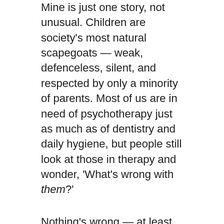Mine is just one story, not unusual. Children are society's most natural scapegoats — weak, defenceless, silent, and respected by only a minority of parents. Most of us are in need of psychotherapy just as much as of dentistry and daily hygiene, but people still look at those in therapy and wonder, 'What's wrong with them?'
Nothing's wrong — at least, no more than usual. It's just life in an imperfect world.
Many blame the sins of the pedophile priests on a mix of homosexuality and celibacy, but to equate pedophilia with homosexuality is reactionary, and mistaken. The celibacy connection is not the only alternative...